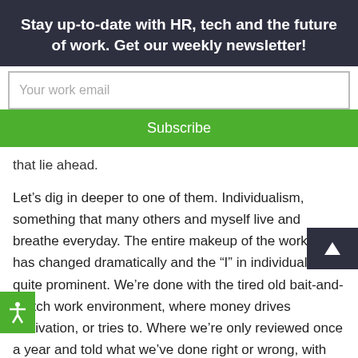Stay up-to-date with HR, tech and the future of work. Get our weekly newsletter!
Your work email
Subscribe
that lie ahead.
Let’s dig in deeper to one of them. Individualism, something that many others and myself live and breathe everyday. The entire makeup of the workforce has changed dramatically and the “I” in individual is quite prominent. We’re done with the tired old bait-and-switch work environment, where money drives motivation, or tries to. Where we’re only reviewed once a year and told what we’ve done right or wrong, with little guidance on where and how to improve.
Instead we’d prefer (and progressive organizations are adapting and delivering) more tailored career